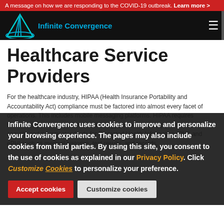A message on how we are responding to the COVID-19 outbreak. Learn more >
[Figure (logo): Infinite Convergence logo with teal triangle and orbital arc graphic, followed by blue text 'Infinite Convergence']
Healthcare Service Providers
For the healthcare industry, HIPAA (Health Insurance Portability and Accountability Act) compliance must be factored into almost every facet of operations. This includes mobile messaging platforms. HIPAA requires healthcare providers and their technology partners to comply with strict security and privacy standards for Protected Health Information (PHI) and ePHI such as medical histories, test results, and records.
Infinite Convergence uses cookies to improve and personalize your browsing experience. The pages may also include cookies from third parties. By using this site, you consent to the use of cookies as explained in our Privacy Policy. Click Customize Cookies to personalize your preference.
While there is a lot of complexity associated with HIPAA compliance, finding a mobile messaging solution that is the go-to solution is NetSfere. NetSfere was designed to help organizations meet full compliance with HIPAA and can be used to send and receive highly